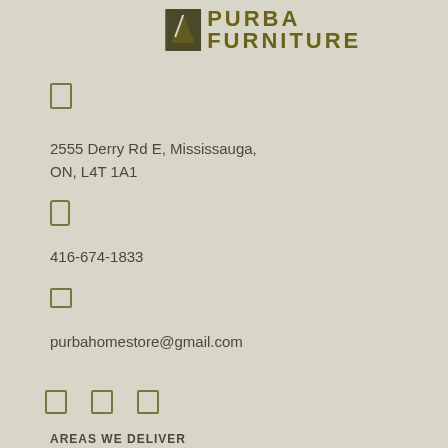[Figure (logo): Purba Furniture logo with stylized icon and text]
[Figure (other): Location/map pin icon placeholder]
2555 Derry Rd E, Mississauga,
ON, L4T 1A1
[Figure (other): Phone icon placeholder]
416-674-1833
[Figure (other): Email icon placeholder]
purbahomestore@gmail.com
[Figure (other): Three social media icon placeholders]
AREAS WE DELIVER